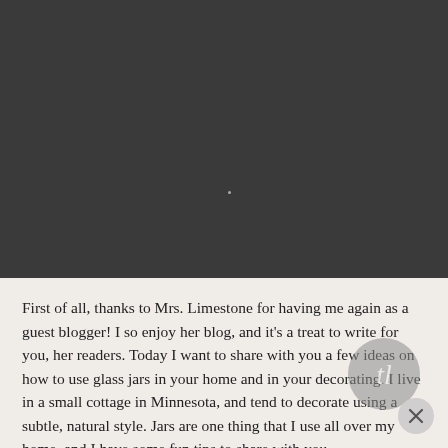[Figure (photo): Dark gray/charcoal background occupying the upper portion of the page, representing a photo area that appears dark or unloaded. A small dot is visible near center.]
First of all, thanks to Mrs. Limestone for having me again as a guest blogger! I so enjoy her blog, and it's a treat to write for you, her readers. Today I want to share with you a few ideas on how to use glass jars in your home and in your decorating. I live in a small cottage in Minnesota, and tend to decorate using a subtle, natural style. Jars are one thing that I use all over my home, and I have some fun tips to share with you.